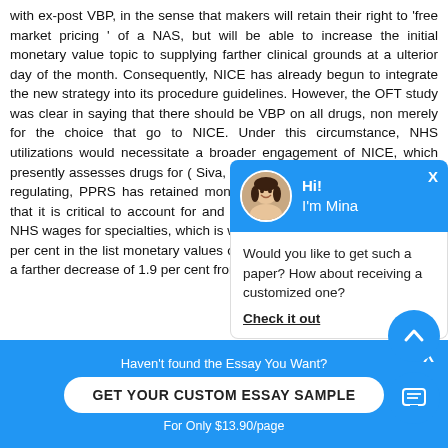with ex-post VBP, in the sense that makers will retain their right to 'free market pricing ' of a NAS, but will be able to increase the initial monetary value topic to supplying farther clinical grounds at a ulterior day of the month. Consequently, NICE has already begun to integrate the new strategy into its procedure guidelines. However, the OFT study was clear in saying that there should be VBP on all drugs, non merely for the choice that go to NICE. Under this circumstance, NHS utilizations would necessitate a broader engagement of NICE, which presently assesses drugs for ( Siva, 2009 ) . In malice of the gap in the regulating, PPRS has retained monetary value controls, emphasizing that it is critical to account for and to pull off the monetary value the NHS wages for specialties, which is why the latest PPRS includes a 3.9 per cent in the list monetary values of specialties sold to the NHS, and a farther decrease of 1.9 per cent from 1 January...
[Figure (screenshot): Chat popup with avatar of a woman named Mina, on blue header background. Body asks 'Would you like to get such a paper? How about receiving a customized one?' with 'Check it out' link.]
Haven't found the Essay You Want?
GET YOUR CUSTOM ESSAY SAMPLE
For Only $13.90/page